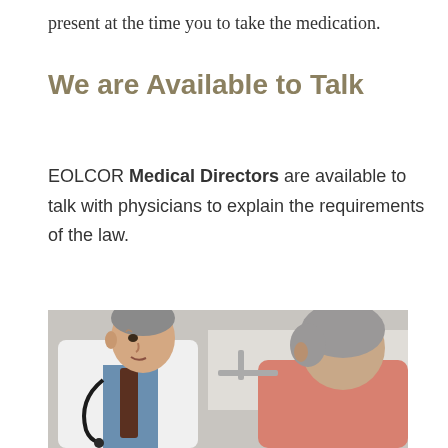present at the time you to take the medication.
We are Available to Talk
EOLCOR Medical Directors are available to talk with physicians to explain the requirements of the law.
[Figure (photo): A doctor in a white coat with a stethoscope speaking with and placing his hand on the shoulder of an elderly patient with gray hair wearing a pink/salmon top.]